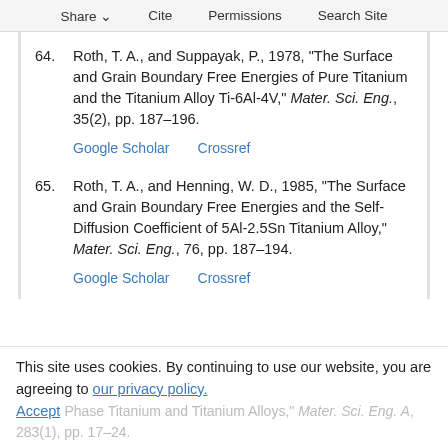Share  Cite  Permissions  Search Site
64. Roth, T. A., and Suppayak, P., 1978, "The Surface and Grain Boundary Free Energies of Pure Titanium and the Titanium Alloy Ti-6Al-4V," Mater. Sci. Eng., 35(2), pp. 187–196.
Google Scholar  Crossref
65. Roth, T. A., and Henning, W. D., 1985, "The Surface and Grain Boundary Free Energies and the Self-Diffusion Coefficient of 5Al-2.5Sn Titanium Alloy," Mater. Sci. Eng., 76, pp. 187–194.
Google Scholar  Crossref
This site uses cookies. By continuing to use our website, you are agreeing to our privacy policy.
Accept  Phase Titanium and Titanium Alloys," Mater. Sci. Eng. A, 283(1), pp. 17–24.